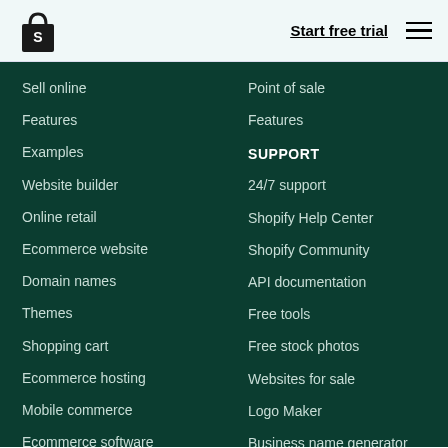Shopify logo | Start free trial | Menu
Sell online
Features
Examples
Website builder
Online retail
Ecommerce website
Domain names
Themes
Shopping cart
Ecommerce hosting
Mobile commerce
Ecommerce software
Online...
Point of sale
Features
SUPPORT
24/7 support
Shopify Help Center
Shopify Community
API documentation
Free tools
Free stock photos
Websites for sale
Logo Maker
Business name generator